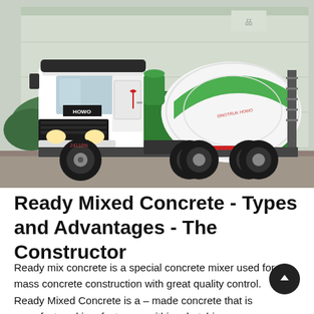[Figure (photo): A white HOWO concrete mixer truck with a green and white drum, parked in front of a large industrial building. The truck has multiple axles and a access ladder on the rear of the drum.]
Ready Mixed Concrete - Types and Advantages - The Constructor
Ready mix concrete is a special concrete mixer used for mass concrete construction with great quality control. Ready Mixed Concrete is a – made concrete that is manufactured in a factory or within a batching plant based on the standard required specifications. The concrete is